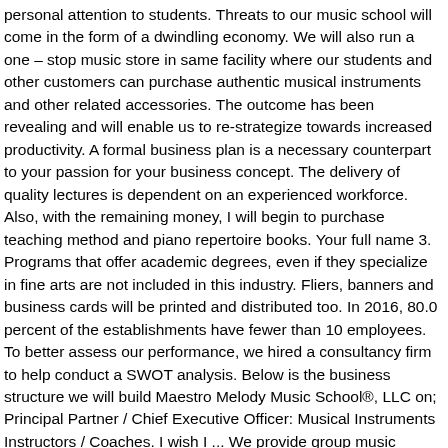personal attention to students. Threats to our music school will come in the form of a dwindling economy. We will also run a one – stop music store in same facility where our students and other customers can purchase authentic musical instruments and other related accessories. The outcome has been revealing and will enable us to re-strategize towards increased productivity. A formal business plan is a necessary counterpart to your passion for your business concept. The delivery of quality lectures is dependent on an experienced workforce. Also, with the remaining money, I will begin to purchase teaching method and piano repertoire books. Your full name 3. Programs that offer academic degrees, even if they specialize in fine arts are not included in this industry. Fliers, banners and business cards will be printed and distributed too. In 2016, 80.0 percent of the establishments have fewer than 10 employees. To better assess our performance, we hired a consultancy firm to help conduct a SWOT analysis. Below is the business structure we will build Maestro Melody Music School®, LLC on; Principal Partner / Chief Executive Officer: Musical Instruments Instructors / Coaches. I wish I ... We provide group music theory courses and string changing services. We are well prepared for this and will be committing our time and resources to ensure we achieve our objective.eval(ez_write_tag([[300,250],'startupback_com-box-4','ezslot_2',146,'0','0'])); Within 8 years, we plan on expanding our reach to cover more areas (at least 10 cities) beyond Chicago. A market-feasibility study and business plan is a critical starting point and foundation for the